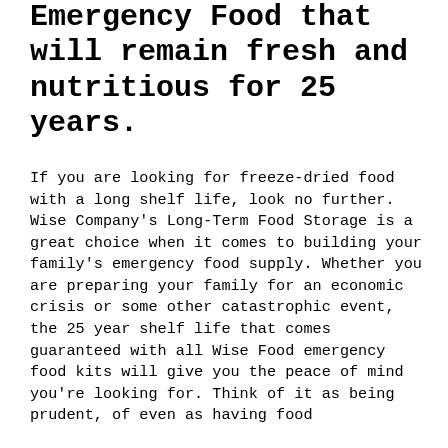Emergency Food that will remain fresh and nutritious for 25 years.
If you are looking for freeze-dried food with a long shelf life, look no further. Wise Company's Long-Term Food Storage is a great choice when it comes to building your family's emergency food supply. Whether you are preparing your family for an economic crisis or some other catastrophic event, the 25 year shelf life that comes guaranteed with all Wise Food emergency food kits will give you the peace of mind you're looking for. Think of it as being prudent, of even as having food